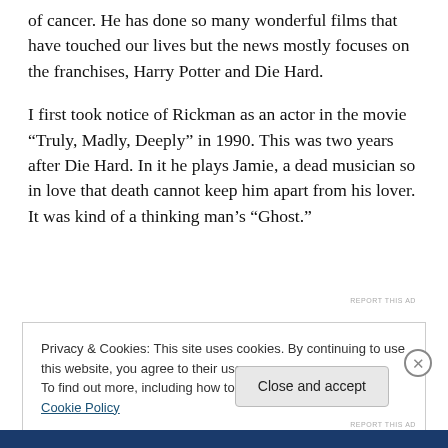of cancer. He has done so many wonderful films that have touched our lives but the news mostly focuses on the franchises, Harry Potter and Die Hard.
I first took notice of Rickman as an actor in the movie “Truly, Madly, Deeply” in 1990. This was two years after Die Hard. In it he plays Jamie, a dead musician so in love that death cannot keep him apart from his lover. It was kind of a thinking man’s “Ghost.”
REPORT THIS AD
Privacy & Cookies: This site uses cookies. By continuing to use this website, you agree to their use.
To find out more, including how to control cookies, see here: Cookie Policy
Close and accept